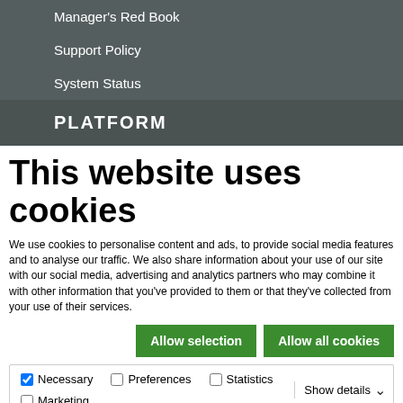Manager's Red Book
Support Policy
System Status
PLATFORM
This website uses cookies
We use cookies to personalise content and ads, to provide social media features and to analyse our traffic. We also share information about your use of our site with our social media, advertising and analytics partners who may combine it with other information that you've provided to them or that they've collected from your use of their services.
Allow selection | Allow all cookies
Necessary | Preferences | Statistics | Marketing | Show details